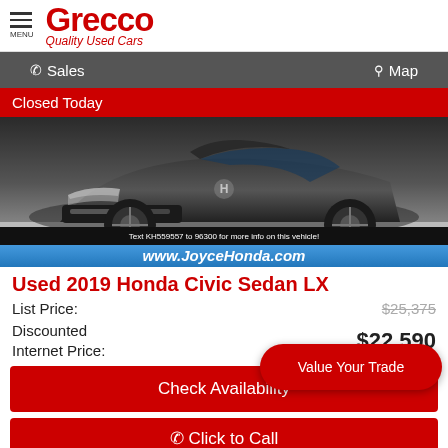Grecco Quality Used Cars
Sales   Map
Closed Today
[Figure (photo): Front view of a dark grey 2019 Honda Civic Sedan LX with watermark text 'Text KH559557 to 96300 for more info on this vehicle!' and 'www.JoyceHonda.com' banner]
Used 2019 Honda Civic Sedan LX
List Price: $25,375
Discounted Internet Price: $22,590
Check Availability
Value Your Trade
Click to Call